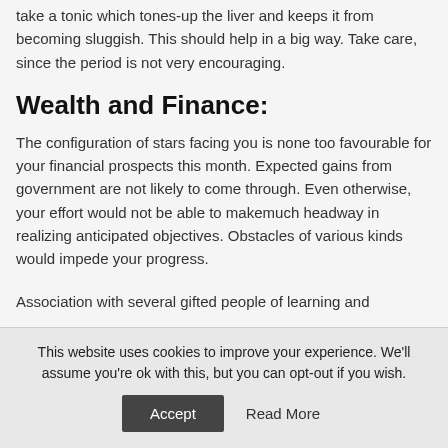take a tonic which tones-up the liver and keeps it from becoming sluggish. This should help in a big way. Take care, since the period is not very encouraging.
Wealth and Finance:
The configuration of stars facing you is none too favourable for your financial prospects this month. Expected gains from government are not likely to come through. Even otherwise, your effort would not be able to makemuch headway in realizing anticipated objectives. Obstacles of various kinds would impede your progress.
Association with several gifted people of learning and
This website uses cookies to improve your experience. We'll assume you're ok with this, but you can opt-out if you wish.